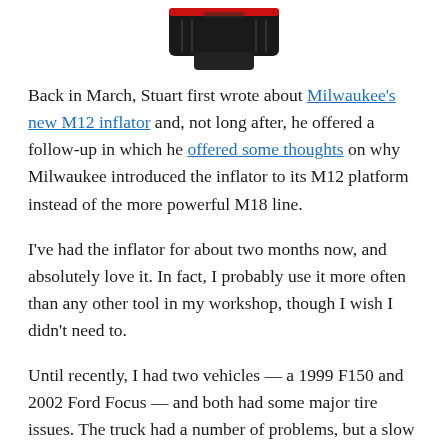[Figure (photo): Partial product photo showing bottom portion of a Milwaukee M12 inflator tool with black and red coloring, cropped at the top of the page.]
Back in March, Stuart first wrote about Milwaukee's new M12 inflator and, not long after, he offered a follow-up in which he offered some thoughts on why Milwaukee introduced the inflator to its M12 platform instead of the more powerful M18 line.
I've had the inflator for about two months now, and absolutely love it. In fact, I probably use it more often than any other tool in my workshop, though I wish I didn't need to.
Until recently, I had two vehicles — a 1999 F150 and 2002 Ford Focus — and both had some major tire issues. The truck had a number of problems, but a slow leak in the front driver's side tire required daily attention until I was able to get it fixed.